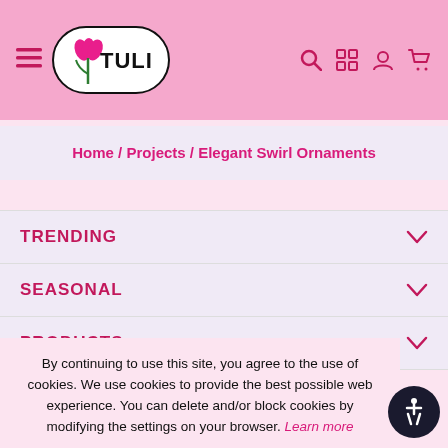[Figure (logo): Tulip brand logo with pink tulip icon on white rounded pill background, hamburger menu icon on left, search/grid/account/cart icons on right in pink header bar]
Home / Projects / Elegant Swirl Ornaments
TRENDING
SEASONAL
PRODUCTS
By continuing to use this site, you agree to the use of cookies. We use cookies to provide the best possible web experience. You can delete and/or block cookies by modifying the settings on your browser. Learn more
OK